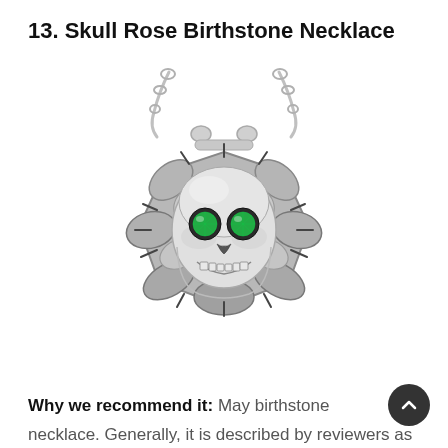13. Skull Rose Birthstone Necklace
[Figure (photo): A silver skull rose birthstone necklace pendant with green gemstone eyes, set in a rose flower design with a silver chain, photographed on a white background.]
Why we recommend it: May birthstone necklace. Generally, it is described by reviewers as...